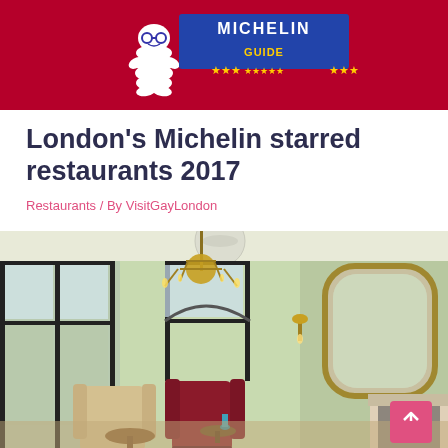[Figure (logo): Michelin Guide logo banner on red background with Bibendum mascot and blue rectangular logo element]
London's Michelin starred restaurants 2017
Restaurants / By VisitGayLondon
[Figure (photo): Interior of an elegant London restaurant with pale green walls, ornate gilded chandelier, antique furnishings including a red velvet wing chair and cream upholstered chairs, a marble fireplace with mirror above, and large sash windows with decorative ironwork.]